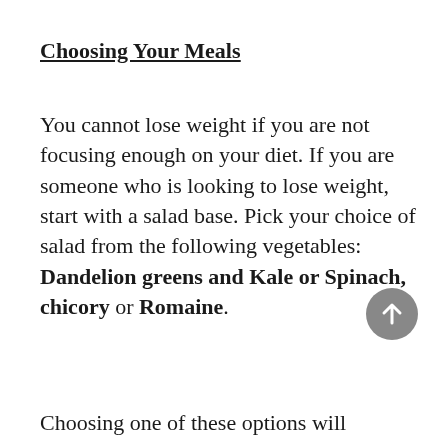Choosing Your Meals
You cannot lose weight if you are not focusing enough on your diet. If you are someone who is looking to lose weight, start with a salad base. Pick your choice of salad from the following vegetables: Dandelion greens and Kale or Spinach, chicory or Romaine.
Choosing one of these options will